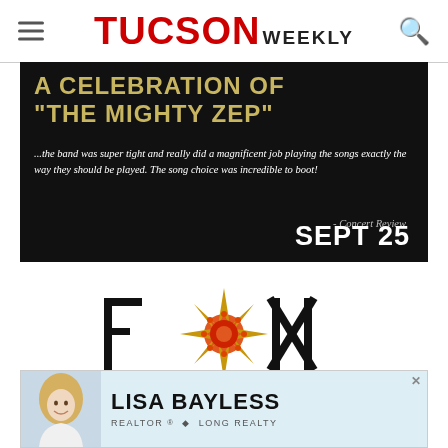TUCSON WEEKLY
[Figure (illustration): Advertisement for 'A Celebration of The Mighty Zep' concert at Fox Tucson Theatre on Sept 25. Black background with gold title text, white italic quote about the band, and Fox Tucson Theatre logo.]
[Figure (illustration): Lisa Bayless Realtor Long Realty advertisement with photo of a blonde woman smiling.]